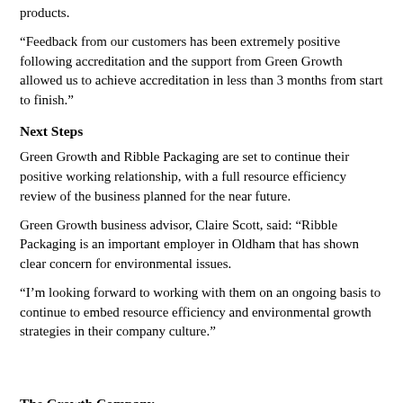products.
“Feedback from our customers has been extremely positive following accreditation and the support from Green Growth allowed us to achieve accreditation in less than 3 months from start to finish.”
Next Steps
Green Growth and Ribble Packaging are set to continue their positive working relationship, with a full resource efficiency review of the business planned for the near future.
Green Growth business advisor, Claire Scott, said: “Ribble Packaging is an important employer in Oldham that has shown clear concern for environmental issues.
“I’m looking forward to working with them on an ongoing basis to continue to embed resource efficiency and environmental growth strategies in their company culture.”
The Growth Company
Lee House